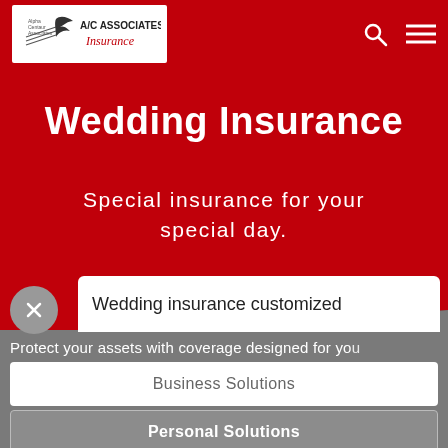[Figure (logo): A/C Associates Insurance logo — white box with bird/check silhouette and company name]
Wedding Insurance
Special insurance for your special day.
Wedding insurance customized
Protect your assets with coverage designed for you
Business Solutions
Personal Solutions